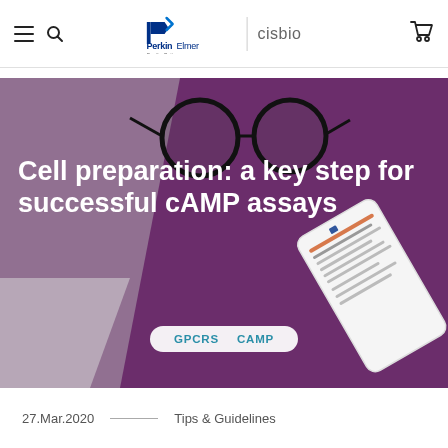PerkinElmer | cisbio
[Figure (photo): Hero background image showing a purple desk with glasses and a smartphone displaying a scientific article, overlaid with white bold text title and category tags]
Cell preparation: a key step for successful cAMP assays
GPCRS
CAMP
27.Mar.2020 — Tips & Guidelines